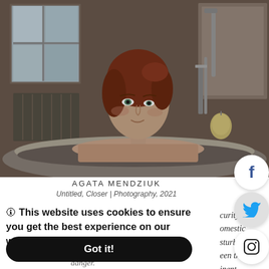[Figure (photo): A young woman with red hair sitting in a vintage clawfoot bathtub, looking to the side. A loofah hangs from the faucet. The setting is a dimly lit bathroom with a window.]
AGATA MENDZIUK
Untitled, Closer | Photography, 2021
🛈 This website uses cookies to ensure you get the best experience on our website. Learn more
Got it!
curity in
omestic
sturbing
een the
inent
danger.